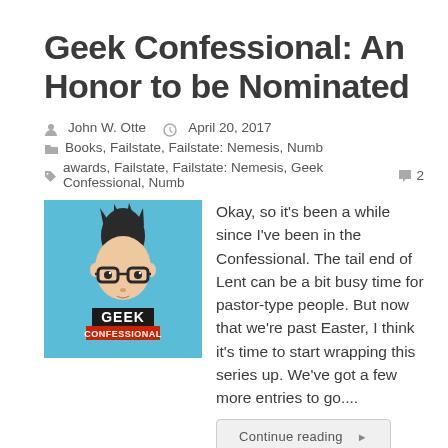Geek Confessional: An Honor to be Nominated
John W. Otte   April 20, 2017
Books, Failstate, Failstate: Nemesis, Numb
awards, Failstate, Failstate: Nemesis, Geek Confessional, Numb   2
[Figure (illustration): Geek Confessional logo: a cartoon face with spiky hair and glasses on a light blue background with 'GEEK CONFESSIONAL' text]
Okay, so it's been a while since I've been in the Confessional. The tail end of Lent can be a bit busy time for pastor-type people. But now that we're past Easter, I think it's time to start wrapping this series up. We've got a few more entries to go....
Continue reading ▶